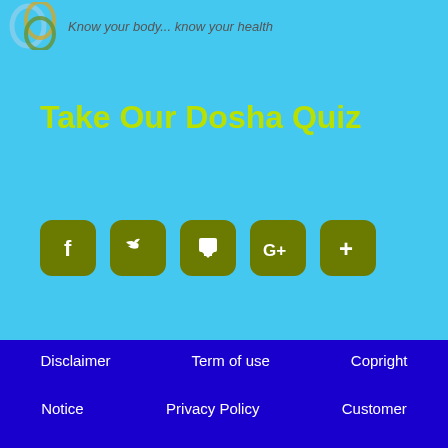[Figure (logo): Circular rings logo with tagline 'Know your body... know your health']
Take Our Dosha Quiz
[Figure (infographic): Five dark olive/green rounded square social media share buttons: Facebook (f), Twitter (bird), Print (printer), Google+ (G+), and Add (+)]
Disclaimer   Term of use   Copright   Notice   Privacy Policy   Customer